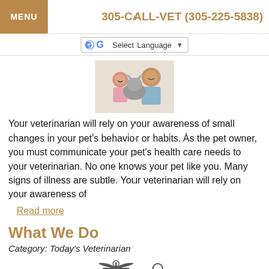MENU | 305-CALL-VET (305-225-5838)
Select Language
[Figure (photo): A woman and a young girl smiling, holding a cat]
Your veterinarian will rely on your awareness of small changes in your pet's behavior or habits. As the pet owner, you must communicate your pet's health care needs to your veterinarian. No one knows your pet like you. Many signs of illness are subtle. Your veterinarian will rely on your awareness of
Read more
What We Do
Category: Today's Veterinarian
[Figure (illustration): Veterinary caduceus/medical symbol icons]